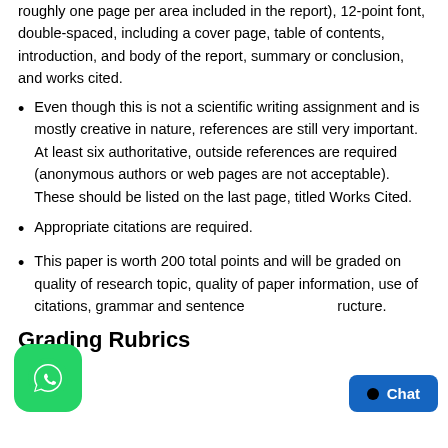roughly one page per area included in the report), 12-point font, double-spaced, including a cover page, table of contents, introduction, and body of the report, summary or conclusion, and works cited.
Even though this is not a scientific writing assignment and is mostly creative in nature, references are still very important. At least six authoritative, outside references are required (anonymous authors or web pages are not acceptable). These should be listed on the last page, titled Works Cited.
Appropriate citations are required.
This paper is worth 200 total points and will be graded on quality of research topic, quality of paper information, use of citations, grammar and sentence structure.
Grading Rubrics